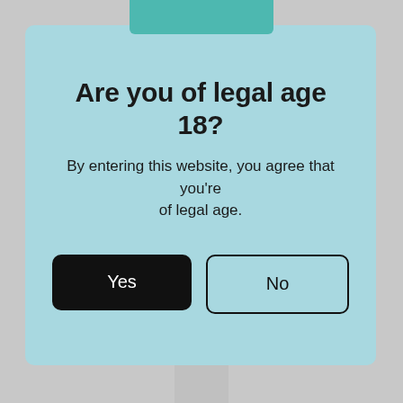Are you of legal age 18?
By entering this website, you agree that you're of legal age.
Yes
No